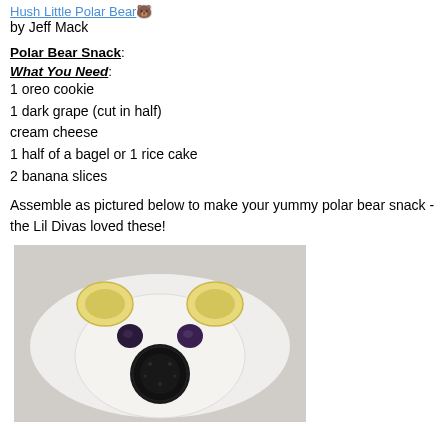Hush Little Polar Bear
by Jeff Mack
Polar Bear Snack:
What You Need:
1 oreo cookie
1 dark grape (cut in half)
cream cheese
1 half of a bagel or 1 rice cake
2 banana slices
Assemble as pictured below to make your yummy polar bear snack - the Lil Divas loved these!
[Figure (photo): A polar bear face made from food on a white plate: cream cheese covered bagel/rice cake as face, two banana slices as ears, two dark grape halves as eyes, one oreo cookie as nose/muzzle]